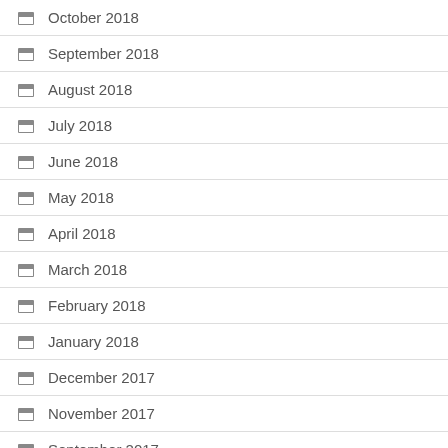October 2018
September 2018
August 2018
July 2018
June 2018
May 2018
April 2018
March 2018
February 2018
January 2018
December 2017
November 2017
September 2017